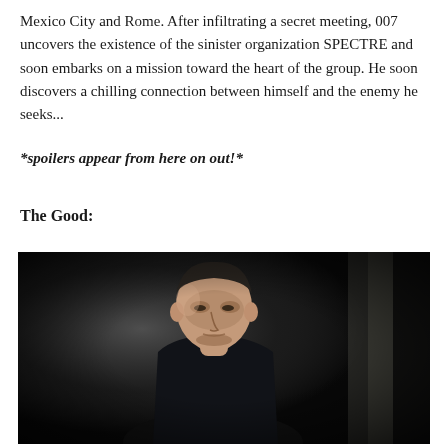Mexico City and Rome. After infiltrating a secret meeting, 007 uncovers the existence of the sinister organization SPECTRE and soon embarks on a mission toward the heart of the group. He soon discovers a chilling connection between himself and the enemy he seeks...
*spoilers appear from here on out!*
The Good:
[Figure (photo): A man in a dark outfit looking downward in a dimly lit room, cinematic still from a James Bond film (Spectre).]